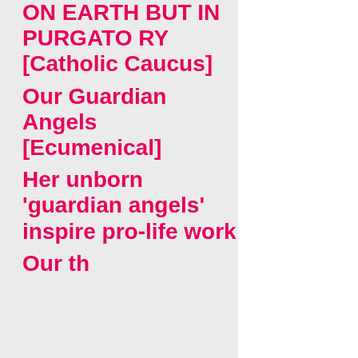NOT OUT ON EARTH BUT IN PURGATORY [Catholic Caucus]
Our Guardian Angels [Ecumenical]
Her unborn 'guardian angels' inspire pro-life work